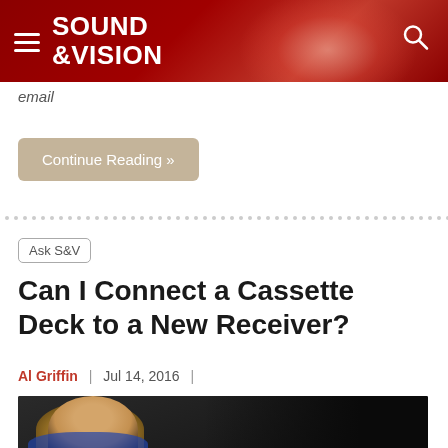SOUND &VISION
email
Continue Reading »
Ask S&V
Can I Connect a Cassette Deck to a New Receiver?
Al Griffin  |  Jul 14, 2016  |
[Figure (photo): Photo of a smiling blonde woman in a blue shirt, appears to be inside a vehicle or dark setting]